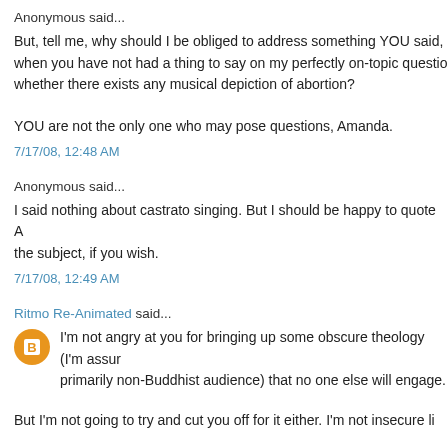Anonymous said...
But, tell me, why should I be obliged to address something YOU said, when you have not had a thing to say on my perfectly on-topic question whether there exists any musical depiction of abortion?
YOU are not the only one who may pose questions, Amanda.
7/17/08, 12:48 AM
Anonymous said...
I said nothing about castrato singing. But I should be happy to quote A on the subject, if you wish.
7/17/08, 12:49 AM
Ritmo Re-Animated said...
I'm not angry at you for bringing up some obscure theology (I'm assur primarily non-Buddhist audience) that no one else will engage.
But I'm not going to try and cut you off for it either. I'm not insecure li